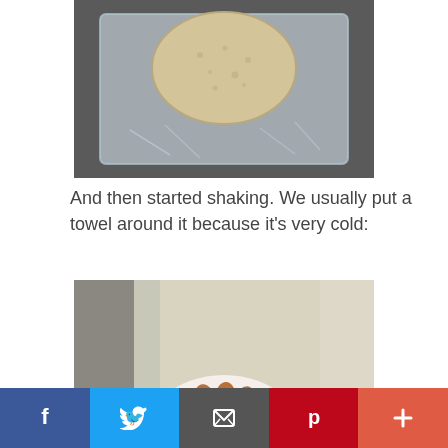[Figure (photo): A round rice cake or flatbread inside a clear plastic zip-lock bag, photographed on a dark surface.]
And then started shaking. We usually put a towel around it because it’s very cold:
[Figure (photo): Two hands shaking or wrapping a red-and-white striped cloth or towel around something, possibly a bag, sitting on a textured surface near a window.]
f  [Twitter bird]  [envelope]  p  +